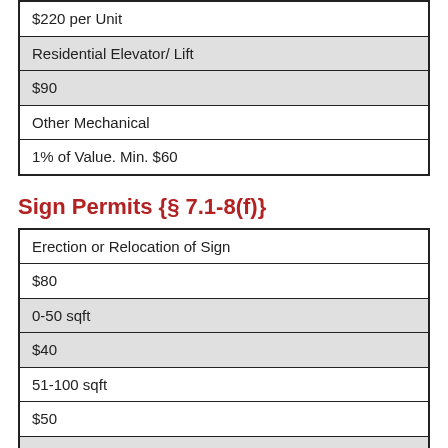| $220 per Unit |
| Residential Elevator/ Lift |
| $90 |
| Other Mechanical |
| 1% of Value. Min. $60 |
Sign Permits {§ 7.1-8(f)}
| Erection or Relocation of Sign |
| $80 |
| 0-50 sqft |
| $40 |
| 51-100 sqft |
| $50 |